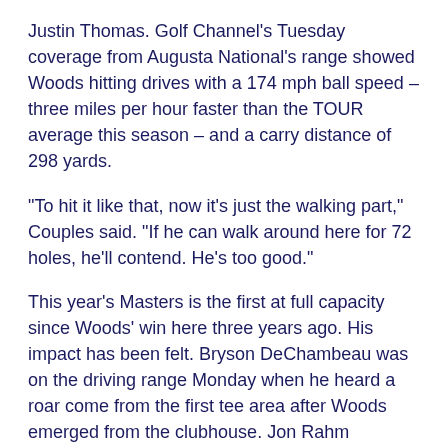Justin Thomas. Golf Channel's Tuesday coverage from Augusta National's range showed Woods hitting drives with a 174 mph ball speed – three miles per hour faster than the TOUR average this season – and a carry distance of 298 yards.
“To hit it like that, now it's just the walking part,” Couples said. “If he can walk around here for 72 holes, he'll contend. He's too good.”
This year's Masters is the first at full capacity since Woods' win here three years ago. His impact has been felt. Bryson DeChambeau was on the driving range Monday when he heard a roar come from the first tee area after Woods emerged from the clubhouse. Jon Rahm compared the crowd following Woods on Monday to the type of gallery usually seen on a weekend here.
“You can feel it,” Rahm said. It looks like the excitement will continue for a few more days.